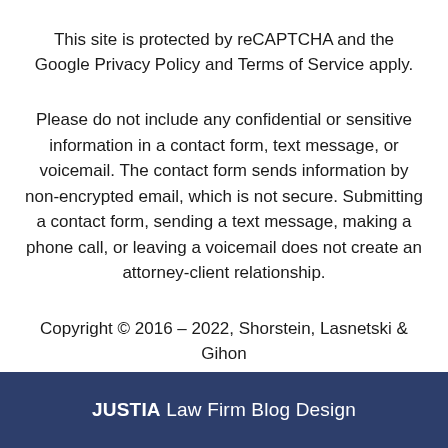This site is protected by reCAPTCHA and the Google Privacy Policy and Terms of Service apply.
Please do not include any confidential or sensitive information in a contact form, text message, or voicemail. The contact form sends information by non-encrypted email, which is not secure. Submitting a contact form, sending a text message, making a phone call, or leaving a voicemail does not create an attorney-client relationship.
Copyright © 2016 – 2022, Shorstein, Lasnetski & Gihon
JUSTIA Law Firm Blog Design